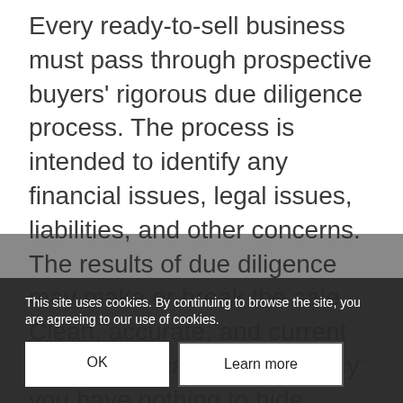Every ready-to-sell business must pass through prospective buyers' rigorous due diligence process. The process is intended to identify any financial issues, legal issues, liabilities, and other concerns. The results of due diligence may make or break the sale. Clean, accurate, and current records indicate transparency: you have nothing to hide. Transparency and candor build confidence.
Prospective buyers expect clean books which help them compare your business with industry peers. Inaccurate accounts may result in incorrect growth estimates. Decisions based on incorrect financial information tend to go wrong.
Your financial records represent the quality
This site uses cookies. By continuing to browse the site, you are agreeing to our use of cookies.